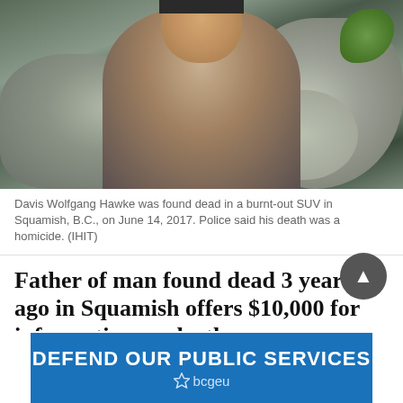[Figure (photo): Photo of Davis Wolfgang Hawke outdoors near rocks, wearing a dark jacket and black beanie hat.]
Davis Wolfgang Hawke was found dead in a burnt-out SUV in Squamish, B.C., on June 14, 2017. Police said his death was a homicide. (IHIT)
Father of man found dead 3 years ago in Squamish offers $10,000 for information on death
Davis Wolfgang Hawke had been a Neo-Nazi turned renegade internet spammer
[Figure (illustration): Blue banner advertisement reading DEFEND OUR PUBLIC SERVICES with bcgeu logo.]